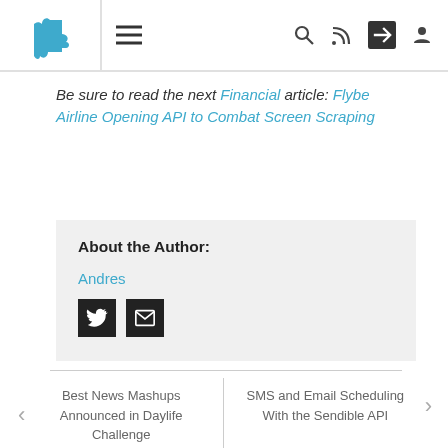Navigation bar with logo, menu, search, RSS, share, and user icons
Be sure to read the next Financial article: Flybe Airline Opening API to Combat Screen Scraping
About the Author:
Andres
Best News Mashups Announced in Daylife Challenge
SMS and Email Scheduling With the Sendible API